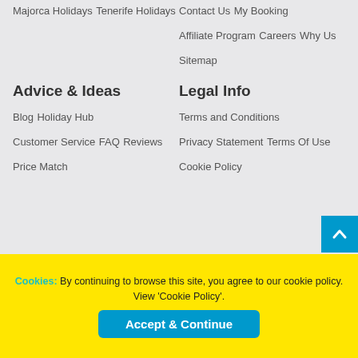Majorca Holidays
Tenerife Holidays
Contact Us
My Booking
Affiliate Program
Careers
Why Us
Sitemap
Advice & Ideas
Legal Info
Blog
Terms and Conditions
Holiday Hub
Privacy Statement
Customer Service
Terms Of Use
FAQ
Cookie Policy
Reviews
Price Match
Cookies: By continuing to browse this site, you agree to our cookie policy. View 'Cookie Policy'.
Accept & Continue